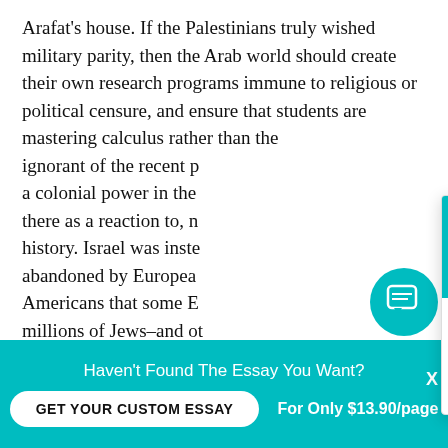Arafat's house. If the Palestinians truly wished military parity, then the Arab world should create their own research programs immune to religious or political censure, and ensure that students are mastering calculus rather than the ignorant of the recent p a colonial power in the there as a reaction to, n history. Israel was inste abandoned by Europea Americans that some E millions of Jews–and ot to stop such a holocaus three wars in the Middle the West Bank, but to finish off what Hitler could
[Figure (other): Chat popup overlay with teal header containing circular avatar photo of a dark-haired woman (Sarah) and greeting 'Hi! I'm Sarah!', close X button, and body text: 'Would you like to get a custom essay? How about receiving a customized one?' with a bold underlined 'Check it out' link.]
[Figure (other): Floating teal circular chat icon button in bottom right with speech bubble icon.]
Haven't Found The Essay You Want? GET YOUR CUSTOM ESSAY   For Only $13.90/page